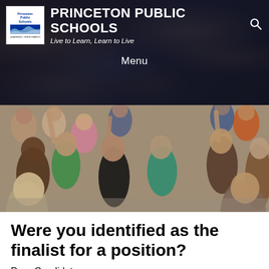PRINCETON PUBLIC SCHOOLS
Live to Learn, Learn to Live
Menu
[Figure (photo): Group of elementary school children sitting on a gymnasium floor with hands raised, smiling and engaged]
Were you identified as the finalist for a position?
Dear Candidate,